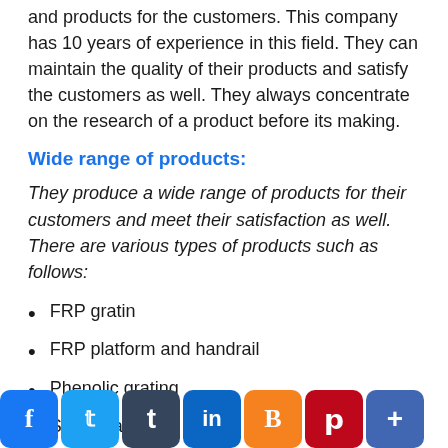This company manufactures wide range of FRP pipe and products for the customers. This company has 10 years of experience in this field. They can maintain the quality of their products and satisfy the customers as well. They always concentrate on the research of a product before its making.
Wide range of products:
They produce a wide range of products for their customers and meet their satisfaction as well. There are various types of products such as follows:
FRP gratin
FRP platform and handrail
Phenolic grating
Stair treads
do